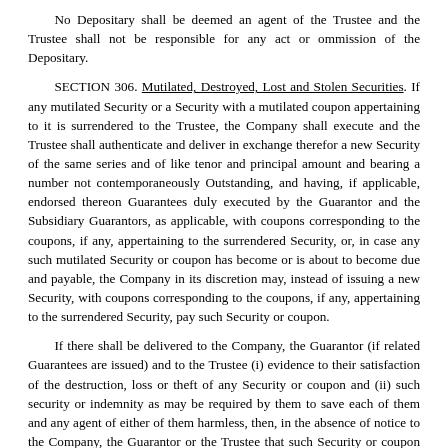No Depositary shall be deemed an agent of the Trustee and the Trustee shall not be responsible for any act or ommission of the Depositary.
SECTION 306. Mutilated, Destroyed, Lost and Stolen Securities. If any mutilated Security or a Security with a mutilated coupon appertaining to it is surrendered to the Trustee, the Company shall execute and the Trustee shall authenticate and deliver in exchange therefor a new Security of the same series and of like tenor and principal amount and bearing a number not contemporaneously Outstanding, and having, if applicable, endorsed thereon Guarantees duly executed by the Guarantor and the Subsidiary Guarantors, as applicable, with coupons corresponding to the coupons, if any, appertaining to the surrendered Security, or, in case any such mutilated Security or coupon has become or is about to become due and payable, the Company in its discretion may, instead of issuing a new Security, with coupons corresponding to the coupons, if any, appertaining to the surrendered Security, pay such Security or coupon.
If there shall be delivered to the Company, the Guarantor (if related Guarantees are issued) and to the Trustee (i) evidence to their satisfaction of the destruction, loss or theft of any Security or coupon and (ii) such security or indemnity as may be required by them to save each of them and any agent of either of them harmless, then, in the absence of notice to the Company, the Guarantor or the Trustee that such Security or coupon has been acquired by a bona fide purchaser, the Company shall execute and upon Company Order the Trustee shall authenticate and deliver, in lieu of any such destroyed, lost or stolen Security or in exchange for the Security to which a destroyed, lost or stolen coupon appertains (with all appurtenant coupons not destroyed, lost or stolen), a new Security of the same series and of like tenor and principal amount and bearing a number not